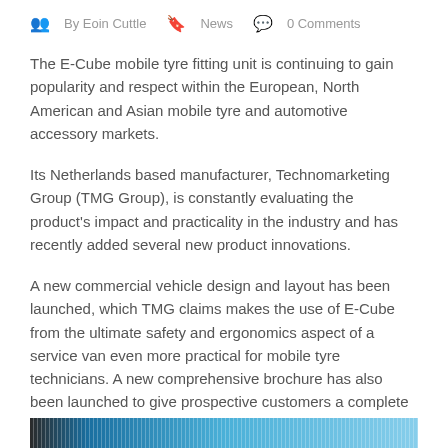By Eoin Cuttle  News  0 Comments
The E-Cube mobile tyre fitting unit is continuing to gain popularity and respect within the European, North American and Asian mobile tyre and automotive accessory markets.
Its Netherlands based manufacturer, Technomarketing Group (TMG Group), is constantly evaluating the product's impact and practicality in the industry and has recently added several new product innovations.
A new commercial vehicle design and layout has been launched, which TMG claims makes the use of E-Cube from the ultimate safety and ergonomics aspect of a service van even more practical for mobile tyre technicians. A new comprehensive brochure has also been launched to give prospective customers a complete insight into what E-Cube offers.
[Figure (photo): Partial bottom image showing a vehicle or E-Cube product in blue tones]